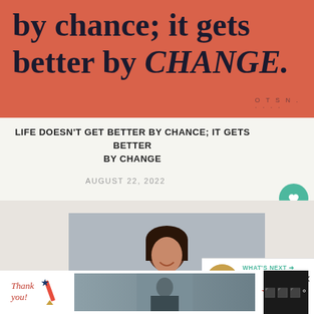[Figure (illustration): Salmon/coral colored banner with large serif bold text reading 'by chance; it gets better by CHANGE.' and a circular watermark in the lower right corner]
LIFE DOESN'T GET BETTER BY CHANCE; IT GETS BETTER BY CHANGE
AUGUST 22, 2022
[Figure (photo): Portrait photo of a smiling dark-haired woman against a gray wall background]
[Figure (infographic): What's Next panel with thumbnail image and text 'Easy Ways to Boost the...']
[Figure (infographic): Bottom advertisement banner: thank you military Operation Gratitude ad with close button]